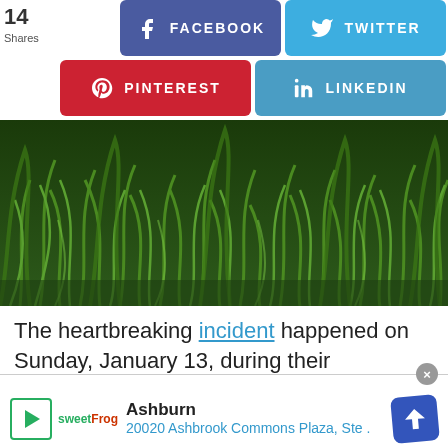14 Shares
[Figure (screenshot): Social share buttons: Facebook (blue-purple), Twitter (blue), Pinterest (red), LinkedIn (blue)]
[Figure (photo): Close-up photo of green grass blades]
The heartbreaking incident happened on Sunday, January 13, during their honeymoon. Thirty-year-old [infolinks] n overseas Filipino worker in Saudi Arabia; and
[Figure (screenshot): Infolinks ad overlay and local business ad: Ashburn, 20020 Ashbrook Commons Plaza, Ste. with sweetFrog logo and navigation arrow]